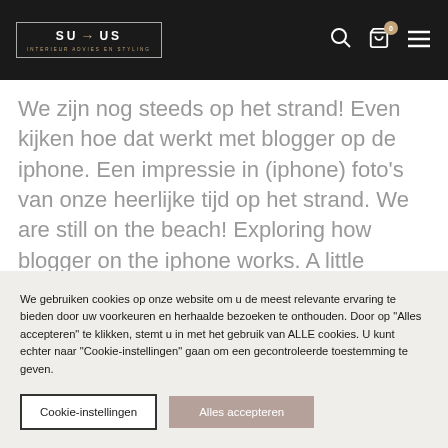SU→US — INTERIEUR ADVIES EN STYLING
We zijn nog steeds op het strand! Even kijken hoe dat werkt met blogger op de iphone. Een impressie in (iphone) foto's van onze heerlijke tijd op het strand. We are still on the beach! Exploring how blogger on the iphone works. A little impression from iphone photos's of our beautifull time @the
We gebruiken cookies op onze website om u de meest relevante ervaring te bieden door uw voorkeuren en herhaalde bezoeken te onthouden. Door op "Alles accepteren" te klikken, stemt u in met het gebruik van ALLE cookies. U kunt echter naar "Cookie-instellingen" gaan om een gecontroleerde toestemming te geven.
Cookie-instellingen
Alles accepteren